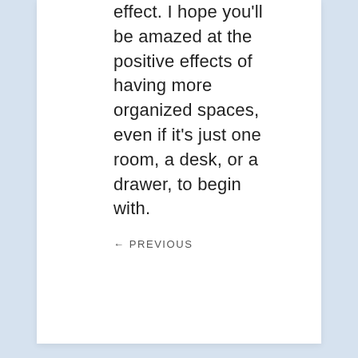effect. I hope you'll be amazed at the positive effects of having more organized spaces, even if it's just one room, a desk, or a drawer, to begin with.
← PREVIOUS